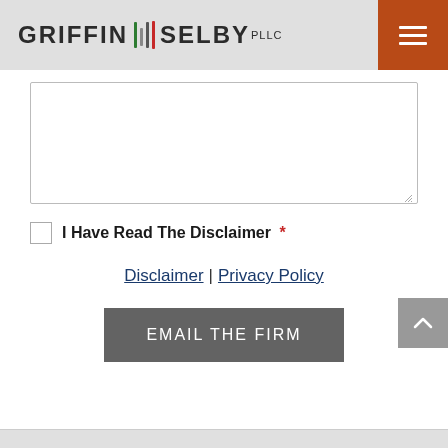[Figure (logo): Griffin Selby PLLC law firm logo with colored vertical bars between the two words]
I Have Read The Disclaimer *
Disclaimer | Privacy Policy
EMAIL THE FIRM